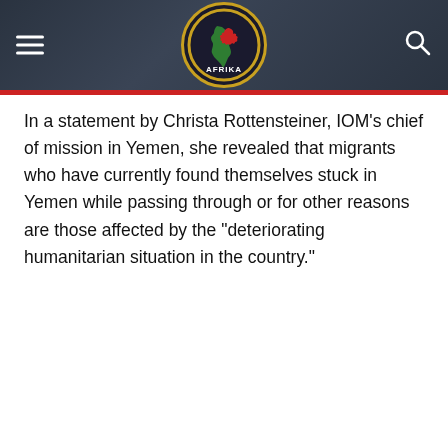[Figure (logo): I Afrika website header logo with circular gold-bordered emblem on dark background, hamburger menu icon on left, search icon on right]
In a statement by Christa Rottensteiner, IOM’s chief of mission in Yemen, she revealed that migrants who have currently found themselves stuck in Yemen while passing through or for other reasons are those affected by the “deteriorating humanitarian situation in the country.”